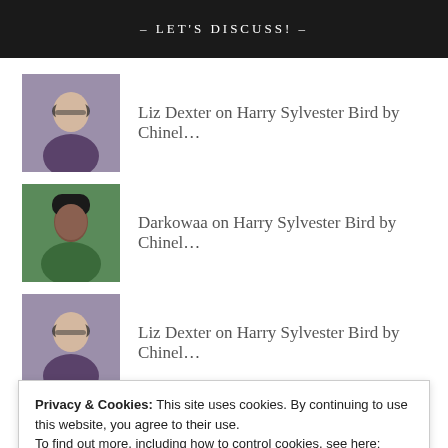– LET'S DISCUSS! –
Liz Dexter on Harry Sylvester Bird by Chinel…
Darkowaa on Harry Sylvester Bird by Chinel…
Liz Dexter on Harry Sylvester Bird by Chinel…
Darkowaa on Harry Sylvester Bird by Chinel…
Privacy & Cookies: This site uses cookies. By continuing to use this website, you agree to their use.
To find out more, including how to control cookies, see here: Cookie Policy
Close and accept